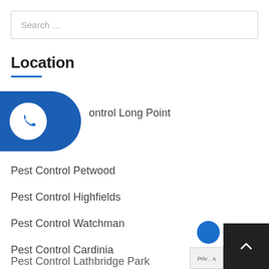Search …
Location
Pest Control Long Point
Pest Control Petwood
Pest Control Highfields
Pest Control Watchman
Pest Control Cardinia
Pest Control Turramurra
Pest Control Lathbridge Park